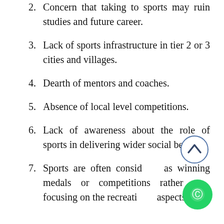2. Concern that taking to sports may ruin studies and future career.
3. Lack of sports infrastructure in tier 2 or 3 cities and villages.
4. Dearth of mentors and coaches.
5. Absence of local level competitions.
6. Lack of awareness about the role of sports in delivering wider social benefits.
7. Sports are often considered as winning medals or competitions rather than focusing on the recreational aspects.
[Figure (illustration): Up arrow navigation button (circle outline with chevron up)]
[Figure (illustration): WhatsApp floating action button (green circle with phone/chat icon)]